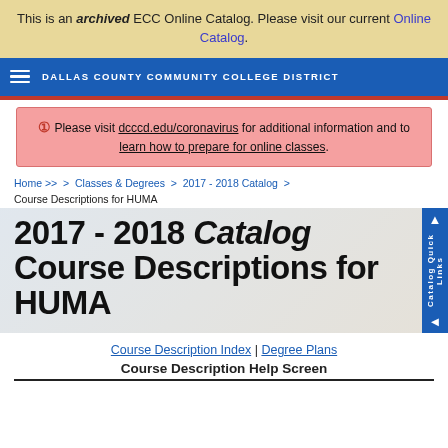This is an archived ECC Online Catalog. Please visit our current Online Catalog.
DALLAS COUNTY COMMUNITY COLLEGE DISTRICT
Please visit dcccd.edu/coronavirus for additional information and to learn how to prepare for online classes.
Home >> > Classes & Degrees > 2017 - 2018 Catalog > Course Descriptions for HUMA
2017 - 2018 Catalog Course Descriptions for HUMA
Course Description Index | Degree Plans
Course Description Help Screen